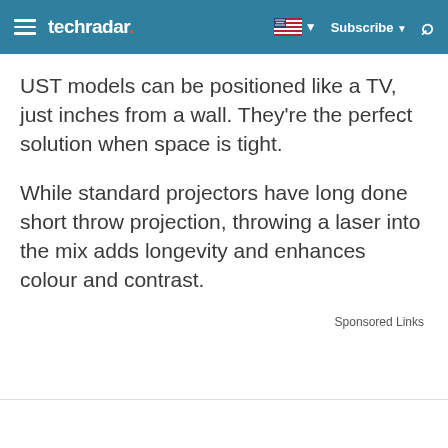techradar
UST models can be positioned like a TV, just inches from a wall. They're the perfect solution when space is tight.
While standard projectors have long done short throw projection, throwing a laser into the mix adds longevity and enhances colour and contrast.
Sponsored Links